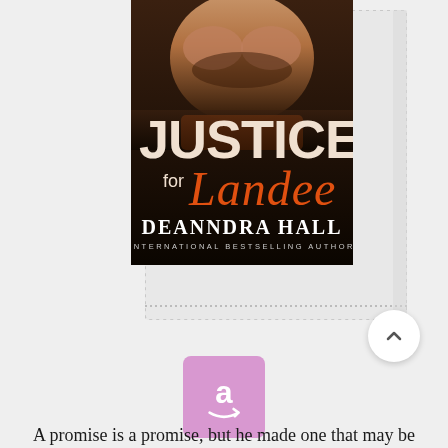[Figure (illustration): Book cover for 'Justice for Landee' by Deanndra Hall, International Bestselling Author. Shows a muscular male torso on a dark background with the book title in large white letters ('JUSTICE') and orange script ('for Landee'). Author name at the bottom in white serif font.]
[Figure (logo): Amazon shopping app icon — white 'a' with a curved arrow smile on a pink/mauve square background.]
A promise is a promise, but he made one that may be